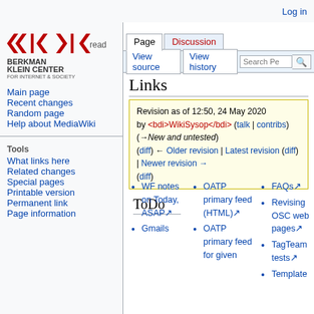Log in
[Figure (logo): Berkman Klein Center for Internet & Society at Harvard University logo with red chevron arrows]
Read
Links
Revision as of 12:50, 24 May 2020 by <bdi>WikiSysop</bdi> (talk | contribs) (→New and untested) (diff) ← Older revision | Latest revision (diff) | Newer revision → (diff)
Main page
Recent changes
Random page
Help about MediaWiki
Tools
What links here
Related changes
Special pages
Printable version
Permanent link
Page information
ToDo
WF notes on Today, ASAP
Gmails
OATP primary feed (HTML)
OATP primary feed for given
FAQs
Revising OSC web pages
TagTeam tests
Template